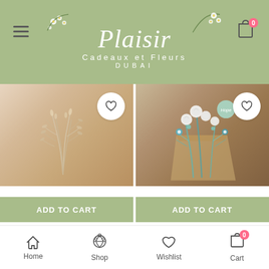[Figure (screenshot): Mobile e-commerce app header with sage green background showing 'Plaisir Cadeaux et Fleurs DUBAI' logo with floral decorations, hamburger menu on left, shopping cart icon on right]
[Figure (photo): Product card showing Bleached Ruscus dried flowers in beige/cream tones with heart wishlist button and ADD TO CART green button]
[Figure (photo): Product card showing Blue and White Forever mixed dried flower bouquet with blue and white flowers in paper wrap with heart wishlist button and ADD TO CART green button]
Bleached Ruscus
Blue and White Forever
[Figure (screenshot): Mobile bottom navigation bar with Home, Shop, Wishlist, and Cart (badge showing 0) icons]